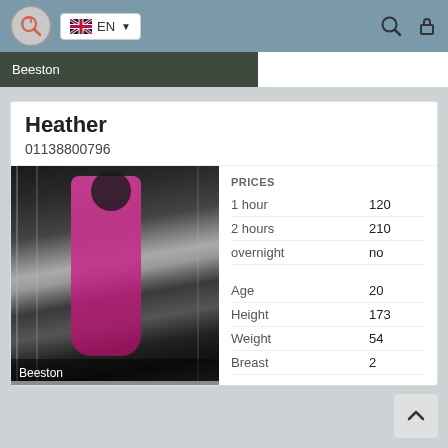EN
Beeston
Heather
01138800796
[Figure (photo): Woman in pink outfit standing near glass doors, back to camera]
Beeston
|  |  |
| --- | --- |
| PRICES |  |
| 1 hour | 120 |
| 2 hours | 210 |
| overnight | no |
| Age | 20 |
| Height | 173 |
| Weight | 54 |
| Breast | 2 |